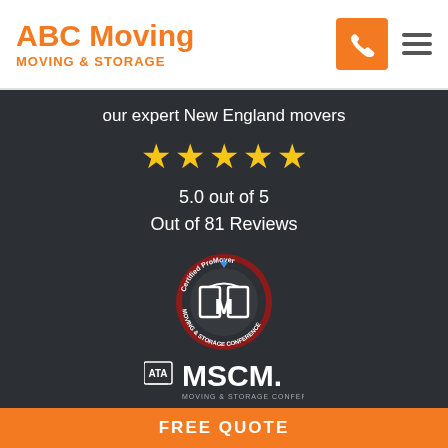[Figure (logo): ABC Moving logo with orange text reading 'ABC Moving' and subtitle 'MOVING & STORAGE']
[Figure (other): Orange phone button icon and hamburger menu icon]
our expert New England movers
[Figure (other): Five gold stars rating display]
5.0 out of 5
Out of 81 Reviews
[Figure (logo): Certified ProMover Moving & Storage Conference circular badge logo]
[Figure (logo): ATA MSCM Moving & Storage Conference logo in white]
FREE QUOTE